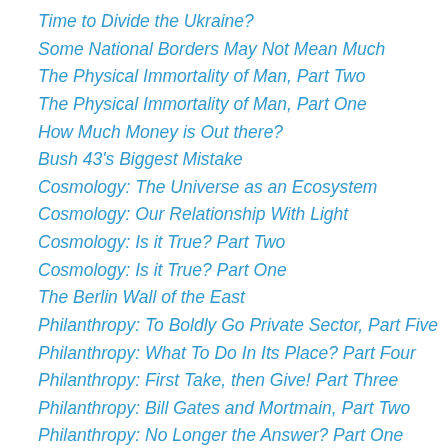Time to Divide the Ukraine?
Some National Borders May Not Mean Much
The Physical Immortality of Man, Part Two
The Physical Immortality of Man, Part One
How Much Money is Out there?
Bush 43's Biggest Mistake
Cosmology: The Universe as an Ecosystem
Cosmology: Our Relationship With Light
Cosmology: Is it True? Part Two
Cosmology: Is it True? Part One
The Berlin Wall of the East
Philanthropy: To Boldly Go Private Sector, Part Five
Philanthropy: What To Do In Its Place? Part Four
Philanthropy: First Take, then Give! Part Three
Philanthropy: Bill Gates and Mortmain, Part Two
Philanthropy: No Longer the Answer? Part One
DNA and the Cycle of Life, Part Three
DNA and the Cycle of Life, Part Two
DNA and the Cycle of Life, Part One
Global Warming, Part Four